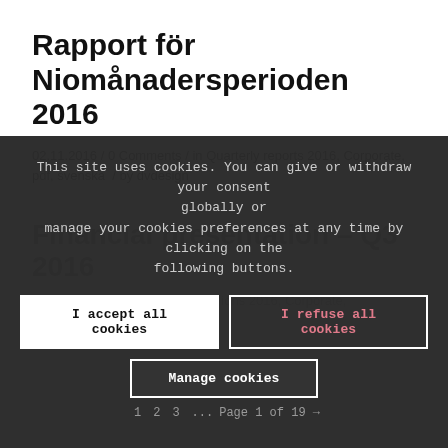Rapport för Niomånadersperioden 2016
02.11.2016 / 0 Comments / in Quarterly reports 2016, Corporate, pdf, svenska / by dvdesign
Financial presentation – Q3 2016
02.11.2016 / 0 Comments / in Quarterly reports 2016, Corporate, pdf, svenska / by dvdesign
This site uses cookies. You can give or withdraw your consent globally or manage your cookies preferences at any time by clicking on the following buttons.
I accept all cookies
I refuse all cookies
Manage cookies
1  2  3  ...  Page 1 of 19 →